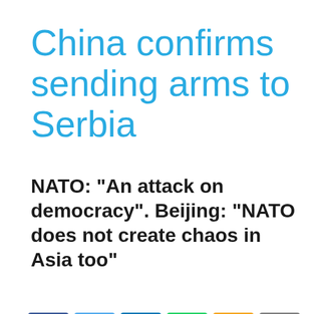China confirms sending arms to Serbia
NATO: "An attack on democracy". Beijing: "NATO does not create chaos in Asia too"
[Figure (other): Social sharing buttons: Facebook, Twitter, LinkedIn, WhatsApp, SMS, Email]